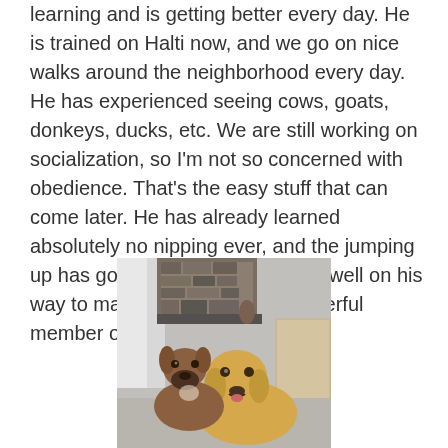learning and is getting better every day. He is trained on Halti now, and we go on nice walks around the neighborhood every day. He has experienced seeing cows, goats, donkeys, ducks, etc. We are still working on socialization, so I'm not so concerned with obedience. That's the easy stuff that can come later. He has already learned absolutely no nipping ever, and the jumping up has gotten 1000x better. He is well on his way to making himself be a wonderful member of society.
[Figure (photo): Photo of two dogs sitting together in a living room. A yellow Labrador retriever is in the foreground and a boxer dog sits behind it. A stone fireplace and couch are visible in the background.]